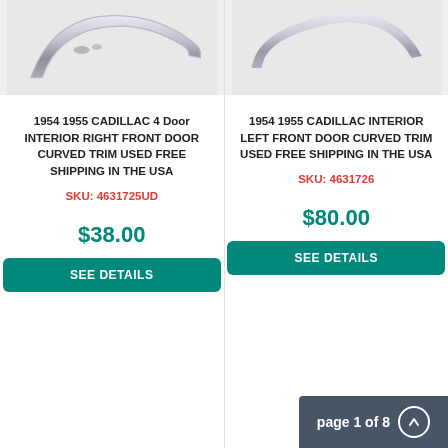[Figure (photo): Chrome curved interior door trim piece for 1954/1955 Cadillac, right front door, photographed on white background]
1954 1955 CADILLAC 4 Door INTERIOR RIGHT FRONT DOOR CURVED TRIM USED FREE SHIPPING IN THE USA
SKU: 4631725UD
$38.00
SEE DETAILS
[Figure (photo): Chrome curved interior door trim piece for 1954/1955 Cadillac, left front door, photographed on white background]
1954 1955 CADILLAC INTERIOR LEFT FRONT DOOR CURVED TRIM USED FREE SHIPPING IN THE USA
SKU: 4631726
$80.00
page 1 of 8